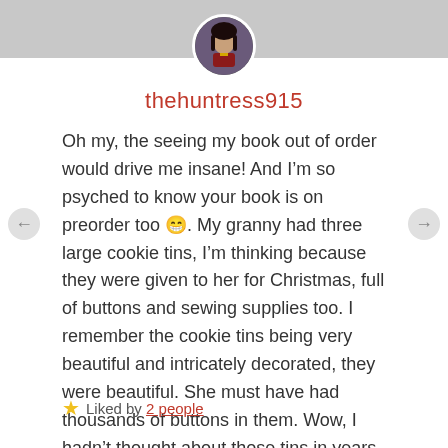[Figure (photo): Circular avatar image of a costumed figure (Wonder Woman) centered at the top of the page on a gray bar background]
thehuntress915
Oh my, the seeing my book out of order would drive me insane! And I’m so psyched to know your book is on preorder too 😁. My granny had three large cookie tins, I’m thinking because they were given to her for Christmas, full of buttons and sewing supplies too. I remember the cookie tins being very beautiful and intricately decorated, they were beautiful. She must have had thousands of buttons in them. Wow, I hadn’t thought about those tins in years, thanks Suzanne!
★ Liked by 2 people